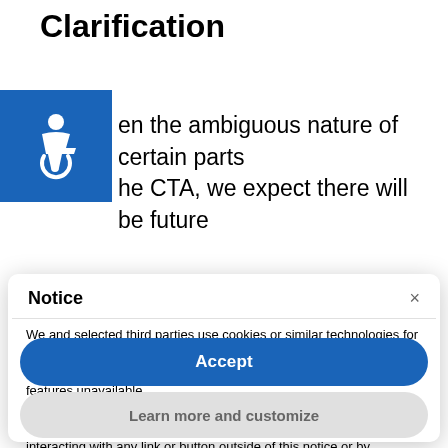Clarification
[Figure (logo): Blue square accessibility icon with wheelchair symbol in white]
en the ambiguous nature of certain parts
he CTA, we expect there will be future
Notice
We and selected third parties use cookies or similar technologies for technical purposes and, with your consent, for other purposes as specified in the cookie policy. Denying consent may make related features unavailable.
You can consent to the use of such technologies by using the “Accept” button, by closing this notice, by scrolling this page, by interacting with any link or button outside of this notice or by continuing to browse otherwise.
Accept
Learn more and customize